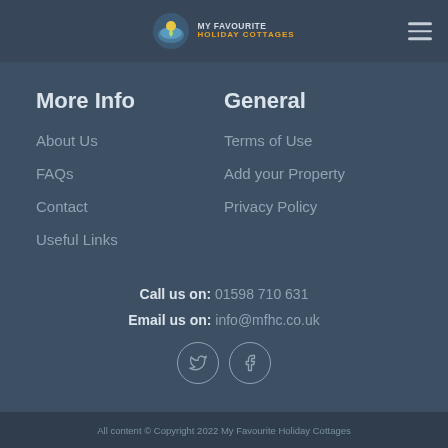[Figure (logo): My Favourite Holiday Cottages logo with icon and hamburger menu]
More Info
General
About Us
Terms of Use
FAQs
Add your Property
Contact
Privacy Policy
Useful Links
Call us on: 01598 710 631
Email us on: info@mfhc.co.uk
[Figure (other): Twitter and Facebook social media icons in circles]
All content © Copyright 2022 My Favourite Holiday Cottages